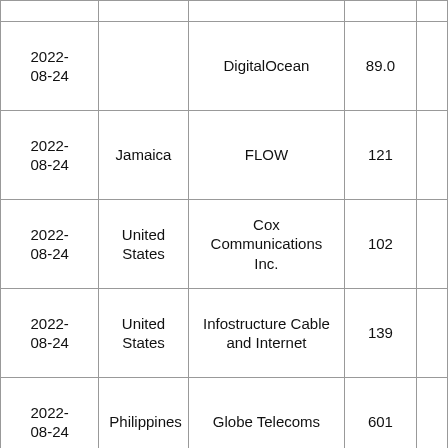| 2022-08-24 |  | DigitalOcean | 89.0 |  |
| 2022-08-24 | Jamaica | FLOW | 121 |  |
| 2022-08-24 | United States | Cox Communications Inc. | 102 |  |
| 2022-08-24 | United States | Infostructure Cable and Internet | 139 |  |
| 2022-08-24 | Philippines | Globe Telecoms | 601 |  |
| 2022-08-24 | United States | Verizon Business | 45.0 |  |
| 2022-... |  |  |  |  |